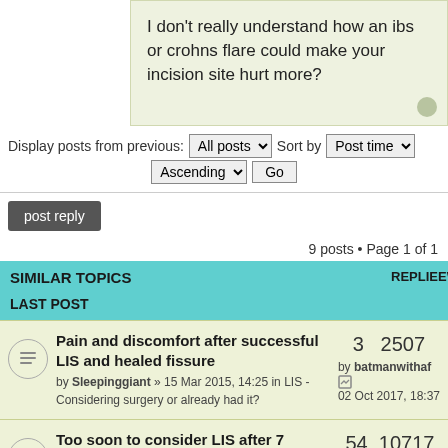I don't really understand how an ibs or crohns flare could make your incision site hurt more?
Display posts from previous: All posts  Sort by Post time  Ascending  Go
post reply
9 posts • Page 1 of 1
| SIMILAR TOPICS | REPLIES | VIEWS | LAST POST |
| --- | --- | --- | --- |
| Pain and discomfort after successful LIS and healed fissure by Sleepinggiant » 15 Mar 2015, 14:25 in LIS - Considering surgery or already had it? | 3 | 2507 | by batmanwithaf 02 Oct 2017, 18:37 |
| Too soon to consider LIS after 7 weeks of fissure pain? by raoden » 22 May 2017, 11:30 in LIS - Considering surgery or already had it? | 54 | 10717 | by kevinpdx 13 Oct 2017, |